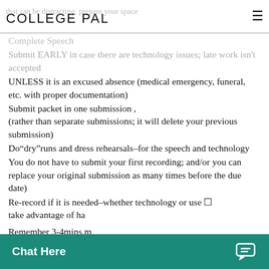COLLEGE PAL
that can be distracting; prepare your space
Complete Speech
Submit EARLY in case there are technology issues; late work isn't accepted
UNLESS it is an excused absence (medical emergency, funeral, etc. with proper documentation)
Submit packet in one submission , (rather than separate submissions; it will delete your previous submission)
Do"dry"runs and dress rehearsals–for the speech and technology
You do not have to submit your first recording; and/or you can replace your original submission as many times before the due date)
Re-record if it is needed–whether technology or use  take advantage of ha
Remember 3-4mins m